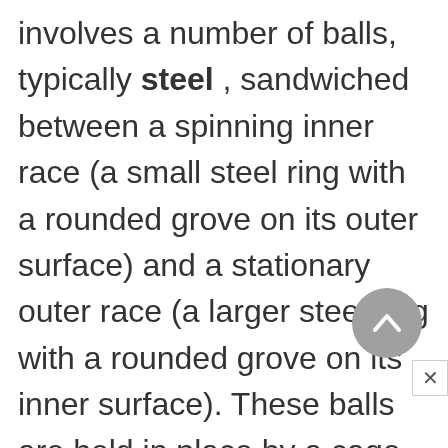involves a number of balls, typically steel , sandwiched between a spinning inner race (a small steel ring with a rounded grove on its outer surface) and a stationary outer race (a larger steel ring with a rounded grove on its inner surface). These balls are held in place by a cage or a retainer. The sides often have shield or seal rings to retain the grease or some other lubrication and to keep the bearing as clean as possible. The area of contact between the balls and the